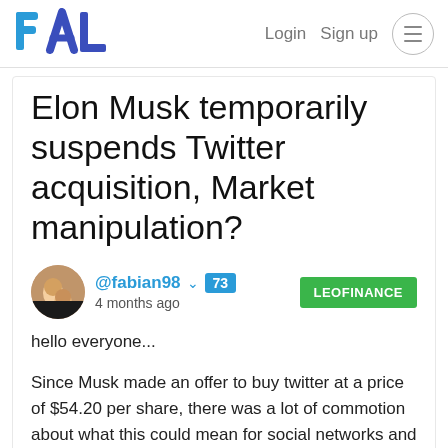PAL — Login Sign up
Elon Musk temporarily suspends Twitter acquisition, Market manipulation?
@fabian98 73 4 months ago LEOFINANCE
hello everyone...
Since Musk made an offer to buy twitter at a price of $54.20 per share, there was a lot of commotion about what this could mean for social networks and what it could mean for the